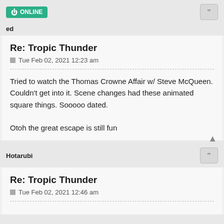ONLINE
ed
Re: Tropic Thunder
Tue Feb 02, 2021 12:23 am
Tried to watch the Thomas Crowne Affair w/ Steve McQueen. Couldn't get into it. Scene changes had these animated square things. Sooooo dated.

Otoh the great escape is still fun
Hotarubi
Re: Tropic Thunder
Tue Feb 02, 2021 12:46 am